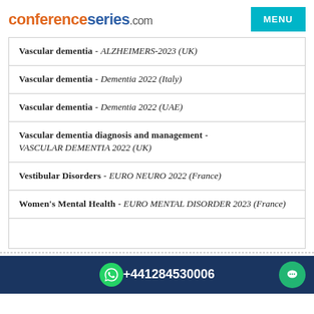conferenceseries.com
Vascular dementia - ALZHEIMERS-2023 (UK)
Vascular dementia - Dementia 2022 (Italy)
Vascular dementia - Dementia 2022 (UAE)
Vascular dementia diagnosis and management - VASCULAR DEMENTIA 2022 (UK)
Vestibular Disorders - EURO NEURO 2022 (France)
Women's Mental Health - EURO MENTAL DISORDER 2023 (France)
+441284530006